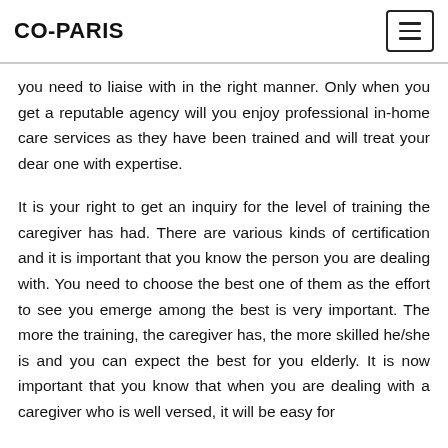CO-PARIS
you need to liaise with in the right manner. Only when you get a reputable agency will you enjoy professional in-home care services as they have been trained and will treat your dear one with expertise.
It is your right to get an inquiry for the level of training the caregiver has had. There are various kinds of certification and it is important that you know the person you are dealing with. You need to choose the best one of them as the effort to see you emerge among the best is very important. The more the training, the caregiver has, the more skilled he/she is and you can expect the best for you elderly. It is now important that you know that when you are dealing with a caregiver who is well versed, it will be easy for